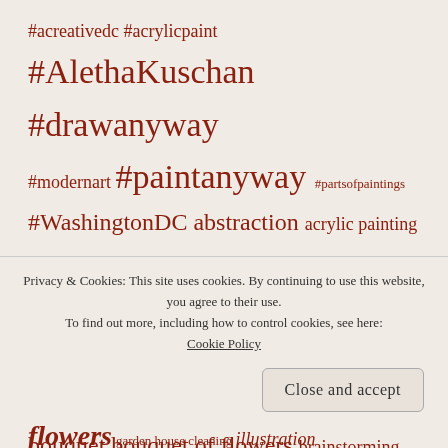#acreativedc #acrylicpaint #AlethaKuschan #drawanyway #modernart #paintanyway #partsofpaintings #WashingtonDC abstraction acrylic painting art artist's studio beginnings blue ball point pen bouquet bouquet of flowers brainstorming bright colors
Privacy & Cookies: This site uses cookies. By continuing to use this website, you agree to their use. To find out more, including how to control cookies, see here: Cookie Policy
Close and accept
flowers garden house cleaning illustration